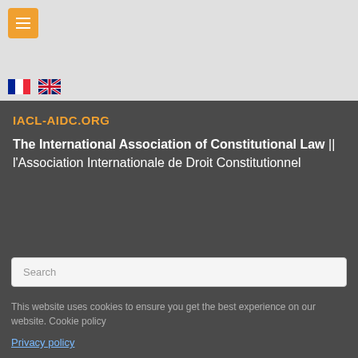[Figure (other): Orange hamburger menu button]
[Figure (other): French flag and UK flag language selectors]
IACL-AIDC.ORG
The International Association of Constitutional Law || l'Association Internationale de Droit Constitutionnel
Search
This website uses cookies to ensure you get the best experience on our website. Cookie policy
Privacy policy
Gender and Constitutions
Got it!
8